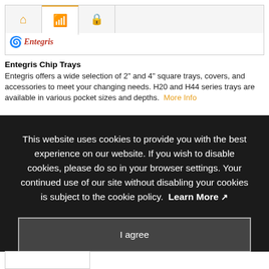[Figure (screenshot): Browser tab bar UI showing home, wifi, and lock icons as tabs]
[Figure (logo): Entegris logo with red swirl icon and italic text]
Entegris Chip Trays
Entegris offers a wide selection of 2" and 4" square trays, covers, and accessories to meet your changing needs. H20 and H44 series trays are available in various pocket sizes and depths.
More Info
This website uses cookies to provide you with the best experience on our website. If you wish to disable cookies, please do so in your browser settings. Your continued use of our site without disabling your cookies is subject to the cookie policy. Learn More ↗
I agree